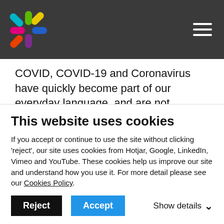[Figure (logo): Colorful multi-colored asterisk/pinwheel logo in top-left header]
COVID, COVID-19 and Coronavirus have quickly become part of our everyday language, and are not exclusively associated with any one entity, particularly when used for medical or sanitary related goods and services.
Given this, many of the above just don't do the job of being a trade mark. As a result, they are likely to
This website uses cookies
If you accept or continue to use the site without clicking 'reject', our site uses cookies from Hotjar, Google, LinkedIn, Vimeo and YouTube. These cookies help us improve our site and understand how you use it. For more detail please see our Cookies Policy.
Reject | Accept | Show details